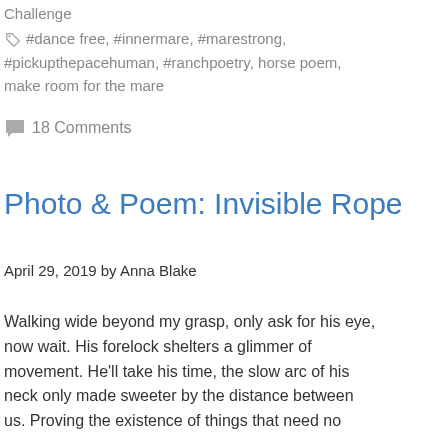Challenge
#dance free, #innermare, #marestrong, #pickupthepacehuman, #ranchpoetry, horse poem, make room for the mare
18 Comments
Photo & Poem: Invisible Rope
April 29, 2019 by Anna Blake
Walking wide beyond my grasp, only ask for his eye, now wait. His forelock shelters a glimmer of movement. He'll take his time, the slow arc of his neck only made sweeter by the distance between us. Proving the existence of things that need no